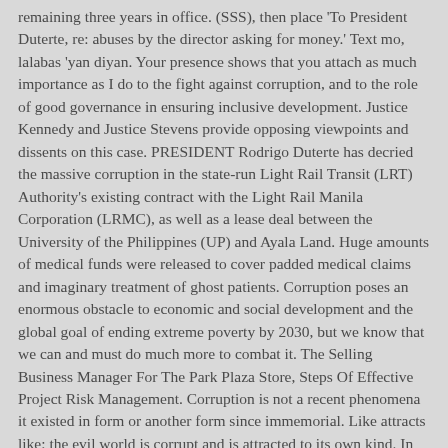remaining three years in office. (SSS), then place 'To President Duterte, re: abuses by the director asking for money.' Text mo, lalabas 'yan diyan. Your presence shows that you attach as much importance as I do to the fight against corruption, and to the role of good governance in ensuring inclusive development. Justice Kennedy and Justice Stevens provide opposing viewpoints and dissents on this case. PRESIDENT Rodrigo Duterte has decried the massive corruption in the state-run Light Rail Transit (LRT) Authority's existing contract with the Light Rail Manila Corporation (LRMC), as well as a lease deal between the University of the Philippines (UP) and Ayala Land. Huge amounts of medical funds were released to cover padded medical claims and imaginary treatment of ghost patients. Corruption poses an enormous obstacle to economic and social development and the global goal of ending extreme poverty by 2030, but we know that we can and must do much more to combat it. The Selling Business Manager For The Park Plaza Store, Steps Of Effective Project Risk Management. Corruption is not a recent phenomena it existed in form or another form since immemorial. Like attracts like; the evil world is corrupt and is attracted to its own kind. In closing, I would like to repeat the message: With solid economic fundamentals, the Philippines can overcome poverty. To fix this, Duterte said he has ordered the National Bureau of Investigation (NBI) to arrest and